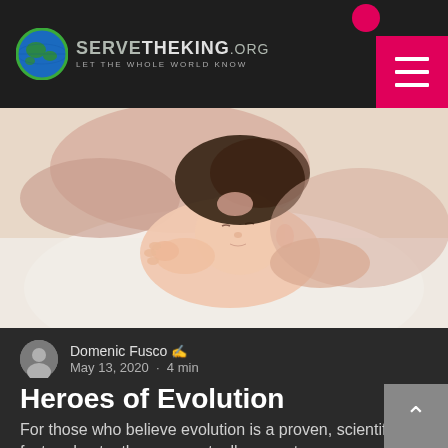ServeTheKing.org — Let The Whole World Know
[Figure (photo): A mother kissing a newborn baby lying on a white blanket]
Domenic Fusco  May 13, 2020 · 4 min
Heroes of Evolution
For those who believe evolution is a proven, scientific fact and not a theory, eventually come t...